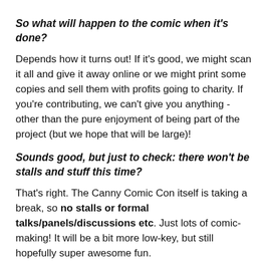So what will happen to the comic when it's done?
Depends how it turns out! If it's good, we might scan it all and give it away online or we might print some copies and sell them with profits going to charity. If you're contributing, we can't give you anything - other than the pure enjoyment of being part of the project (but we hope that will be large)!
Sounds good, but just to check: there won't be stalls and stuff this time?
That's right. The Canny Comic Con itself is taking a break, so no stalls or formal talks/panels/discussions etc. Just lots of comic-making! It will be a bit more low-key, but still hopefully super awesome fun.
Okay, I'm in. What do I need to do?
Just turn up on the day! If you've got your own pens and whatnot feel free to bring them, but we should have some basic stuff available, so all you really need is yourself! If you